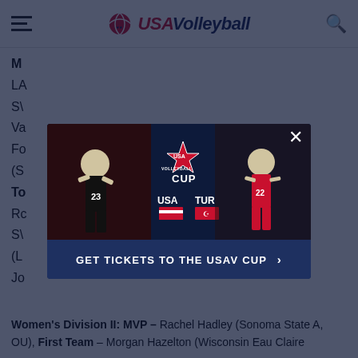USAVolleyball
M... L... S... V... Fo... (S...
[Figure (screenshot): USA Volleyball Cup advertisement showing USA vs TUR match with players and USA Cup Volleyball logo, with a 'GET TICKETS TO THE USAV CUP' call-to-action button]
Women's Division II: MVP – Rachel Hadley (Sonoma State A, OU), First Team – Morgan Hazelton (Wisconsin Eau Claire...